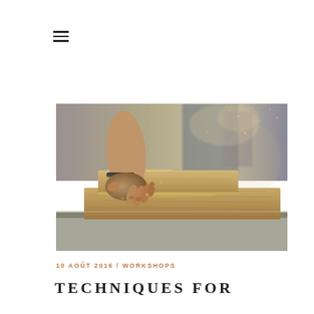☰
[Figure (photo): Close-up photo of a person's hand working with wooden planks covered in sawdust, with sawdust spraying in the air, in a woodworking workshop setting.]
10 AOÛT 2016 / WORKSHOPS
TECHNIQUES FOR